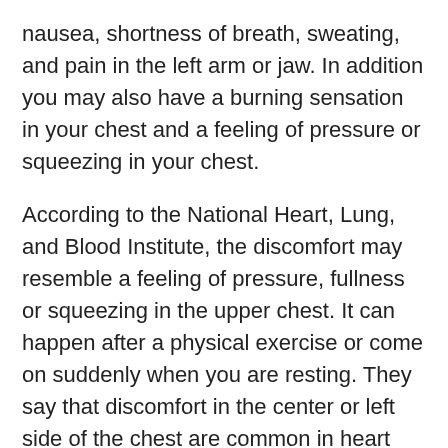nausea, shortness of breath, sweating, and pain in the left arm or jaw. In addition you may also have a burning sensation in your chest and a feeling of pressure or squeezing in your chest.
According to the National Heart, Lung, and Blood Institute, the discomfort may resemble a feeling of pressure, fullness or squeezing in the upper chest. It can happen after a physical exercise or come on suddenly when you are resting. They say that discomfort in the center or left side of the chest are common in heart attacks.²
The American Heart Association (AHA) reports that some of the other common signs of a heart attack include:³